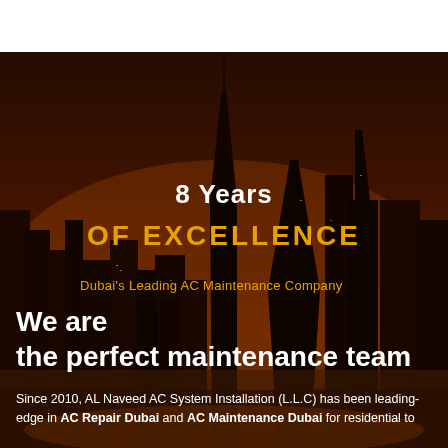[Figure (photo): Night cityscape of Dubai skyline with skyscrapers including Burj Khalifa, dark reddish-brown sky, city lights visible at base of buildings]
8 Years
OF EXCELLENCE
Dubai's Leading AC Maintenance Company
We are the perfect maintenance team
Since 2010, AL Naveed AC System Installation (L.L.C) has been leading-edge in AC Repair Dubai and AC Maintenance Dubai for residential to